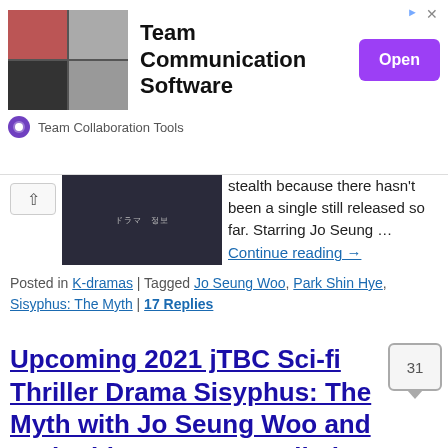[Figure (infographic): Advertisement banner for Team Communication Software with video call grid photo, Open button, and Team Collaboration Tools sponsor label]
[Figure (photo): Dark thumbnail image for a Korean drama article with Korean text overlay]
stealth because there hasn't been a single still released so far. Starring Jo Seung …
Continue reading →
Posted in K-dramas | Tagged Jo Seung Woo, Park Shin Hye, Sisyphus: The Myth | 17 Replies
Upcoming 2021 jTBC Sci-fi Thriller Drama Sisyphus: The Myth with Jo Seung Woo and Park Shin Hye Wraps Filming
Posted on December 14, 2020 by ockoala
[Figure (photo): Thumbnail photo of a Korean actress (partial, cropped at bottom)]
Talk about under the radar stealth work and kudos to the cast and